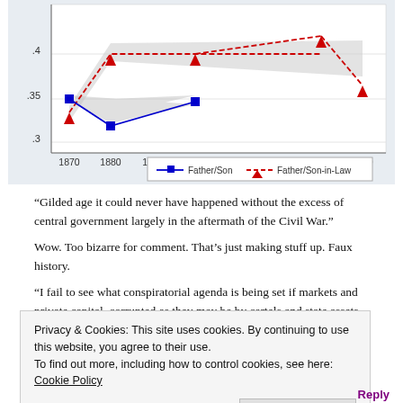[Figure (line-chart): Father/Son and Father/Son-in-Law correlations by year]
“Gilded age it could never have happened without the excess of central government largely in the aftermath of the Civil War.”
Wow. Too bizarre for comment. That’s just making stuff up. Faux history.
“I fail to see what conspiratorial agenda is being set if markets and private capital, corrupted as they may be by cartels and state assets, flowing more
Privacy & Cookies: This site uses cookies. By continuing to use this website, you agree to their use.
To find out more, including how to control cookies, see here: Cookie Policy